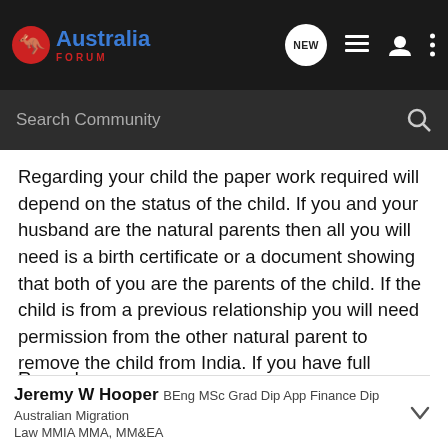Australia Forum — NEW
Search Community
Regarding your child the paper work required will depend on the status of the child. If you and your husband are the natural parents then all you will need is a birth certificate or a document showing that both of you are the parents of the child. If the child is from a previous relationship you will need permission from the other natural parent to remove the child from India. If you have full custody of the child you will need to have court documents to show that you have the legal right as to where the child lives.
Regards
Jeremy W Hooper BEng MSc Grad Dip App Finance Dip Australian Migration Law MMIA MMA, MM&EA